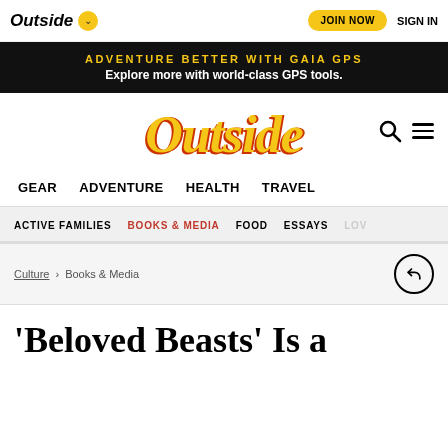Outside | JOIN NOW | SIGN IN
ADVENTURE BETTER WITH GAIA GPS — Explore more with world-class GPS tools.
[Figure (logo): Outside magazine logo in gold/orange italic text]
GEAR   ADVENTURE   HEALTH   TRAVEL
ACTIVE FAMILIES   BOOKS & MEDIA   FOOD   ESSAYS   LOV
Culture > Books & Media
'Beloved Beasts' Is a